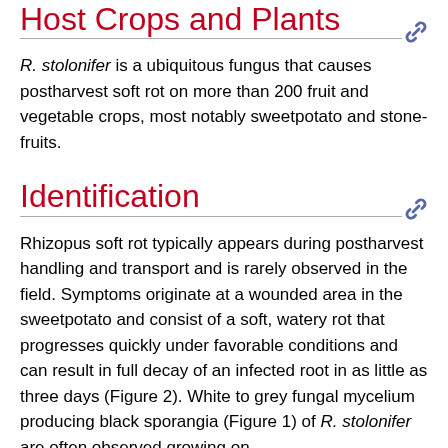Host Crops and Plants
R. stolonifer is a ubiquitous fungus that causes postharvest soft rot on more than 200 fruit and vegetable crops, most notably sweetpotato and stone-fruits.
Identification
Rhizopus soft rot typically appears during postharvest handling and transport and is rarely observed in the field. Symptoms originate at a wounded area in the sweetpotato and consist of a soft, watery rot that progresses quickly under favorable conditions and can result in full decay of an infected root in as little as three days (Figure 2). White to grey fungal mycelium producing black sporangia (Figure 1) of R. stolonifer are often observed growing on